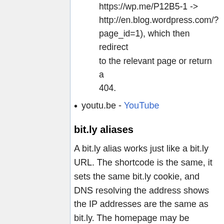https://wp.me/P12B5-1 -> http://en.blog.wordpress.com/?page_id=1), which then redirect to the relevant page or return a 404.
youtu.be - YouTube
bit.ly aliases
A bit.ly alias works just like a bit.ly URL. The shortcode is the same, it sets the same bit.ly cookie, and DNS resolving the address shows the IP addresses are the same as bit.ly. The homepage may be different however. (Bit.ly IPs (as of 10/18/2016): 67.199.248.{10,11,12,13} see support.bitly dot com/knowledgebase/articles/76741-how-do-i-set-up-a-custom-short-domain-) In rare occasions such as with puri.na the shortcodes will resolve different though the puri.na example is the only example